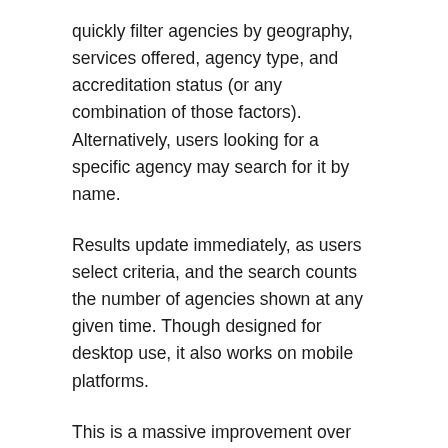quickly filter agencies by geography, services offered, agency type, and accreditation status (or any combination of those factors). Alternatively, users looking for a specific agency may search for it by name.
Results update immediately, as users select criteria, and the search counts the number of agencies shown at any given time. Though designed for desktop use, it also works on mobile platforms.
This is a massive improvement over the old search in both design and function, particularly in terms of how it displays search results.
Old Search